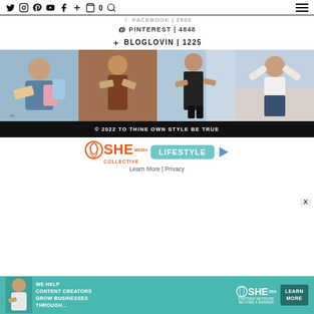Navigation bar with social icons: Twitter, Instagram, Pinterest, YouTube, Facebook, Plus, Cart 0, Search, Hamburger menu
FACEBOOK | 2903
PINTEREST | 4848
BLOGLOVIN | 1225
[Figure (photo): Four fashion/lifestyle Instagram photos in a horizontal strip]
© 2022 TO THINE OWN STYLE BE TRUE
[Figure (logo): SHE Media Collective Lifestyle badge advertisement with Learn More and Privacy links, and a play button]
[Figure (infographic): Teal banner ad: We help content creators grow businesses through... SHE Partner Network Become a Member, Learn More button, with a person photo on left]